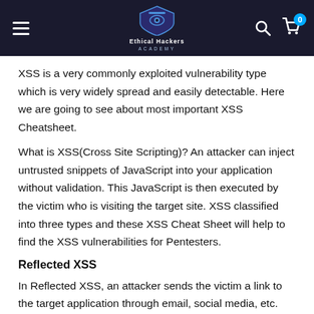Ethical Hackers Academy
XSS is a very commonly exploited vulnerability type which is very widely spread and easily detectable. Here we are going to see about most important XSS Cheatsheet.
What is XSS(Cross Site Scripting)? An attacker can inject untrusted snippets of JavaScript into your application without validation. This JavaScript is then executed by the victim who is visiting the target site. XSS classified into three types and these XSS Cheat Sheet will help to find the XSS vulnerabilities for Pentesters.
Reflected XSS
In Reflected XSS, an attacker sends the victim a link to the target application through email, social media, etc. This link